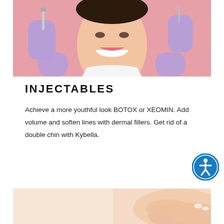[Figure (photo): A smiling woman with short dark hair looking forward while surrounded by gloved hands holding syringes and injection devices near her face, against a pink background.]
INJECTABLES
Achieve a more youthful look BOTOX or XEOMIN. Add volume and soften lines with dermal fillers. Get rid of a double chin with Kybella.
[Figure (photo): Close-up of hands resting on skin, suggesting a treatment or massage context, with soft warm tones.]